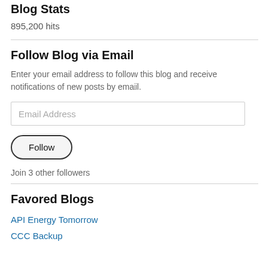Blog Stats
895,200 hits
Follow Blog via Email
Enter your email address to follow this blog and receive notifications of new posts by email.
Email Address
Follow
Join 3 other followers
Favored Blogs
API Energy Tomorrow
CCC Backup